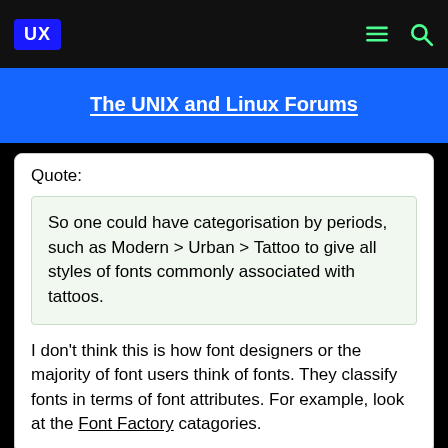UX | The UNIX and Linux Forums
Quote:
So one could have categorisation by periods, such as Modern > Urban > Tattoo to give all styles of fonts commonly associated with tattoos.
I don't think this is how font designers or the majority of font users think of fonts. They classify fonts in terms of font attributes. For example, look at the Font Factory catagories.